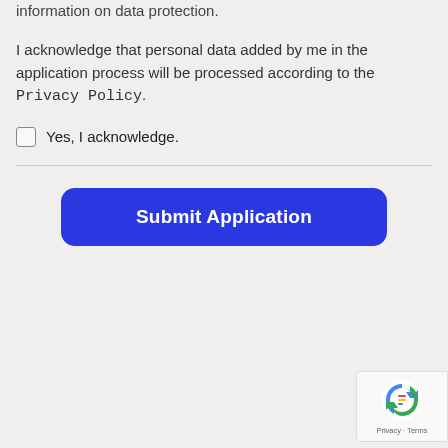information on data protection.
I acknowledge that personal data added by me in the application process will be processed according to the Privacy Policy.
Yes, I acknowledge.
[Figure (screenshot): Submit Application button - a wide blue rounded-rectangle button with white bold text]
[Figure (logo): reCAPTCHA badge with logo and Privacy · Terms links]